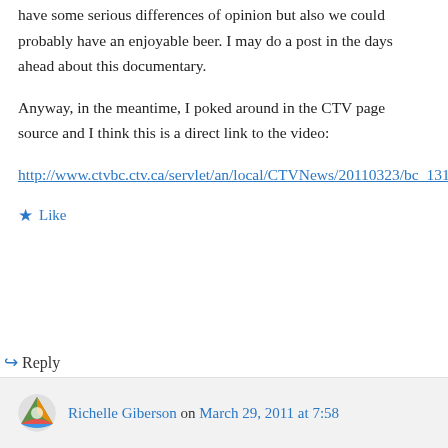have some serious differences of opinion but also we could probably have an enjoyable beer. I may do a post in the days ahead about this documentary.
Anyway, in the meantime, I poked around in the CTV page source and I think this is a direct link to the video:
http://www.ctvbc.ctv.ca/servlet/an/local/CTVNews/20110323/bc_1312_first_story_gateway_drew_haydon_taylor_110323/20110323
★ Like
↪ Reply
Richelle Giberson on March 29, 2011 at 7:58